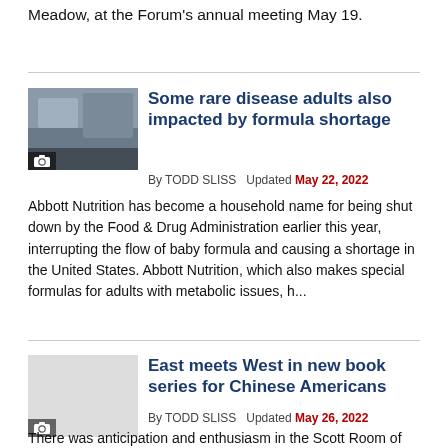Meadow, at the Forum's annual meeting May 19.
[Figure (photo): Photo of a person in a kitchen, with a camera icon badge in the lower left corner]
Some rare disease adults also impacted by formula shortage
By TODD SLISS  Updated May 22, 2022
Abbott Nutrition has become a household name for being shut down by the Food & Drug Administration earlier this year, interrupting the flow of baby formula and causing a shortage in the United States. Abbott Nutrition, which also makes special formulas for adults with metabolic issues, h...
[Figure (photo): Grey placeholder image with a camera icon badge in the lower left corner]
East meets West in new book series for Chinese Americans
By TODD SLISS  Updated May 26, 2022
There was anticipation and enthusiasm in the Scott Room of the Scarsdale Public Library as Jingiang Tai unveiled a four book